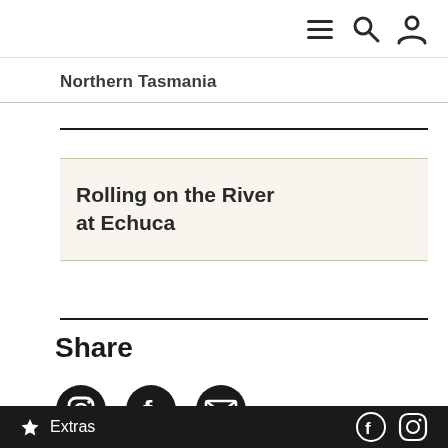Navigation bar with menu, search, and user icons
Northern Tasmania
Rolling on the River at Echuca
Share
[Figure (infographic): Social sharing icons: Instagram, Facebook, Email]
Extras  [Facebook icon] [Instagram icon]